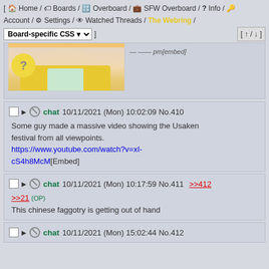[ Home / Boards / Overboard / SFW Overboard / Info / Account / Settings / Watched Threads / The Webring / Board-specific CSS ] [ ↑ / ↓ ]
[Figure (illustration): Partial view of an anime-style illustration of a girl with short brown hair wearing a yellow jacket, with a speech bubble containing a question mark. Image is cropped at the top.]
chat 10/11/2021 (Mon) 10:02:09 No.410
Some guy made a massive video showing the Usaken festival from all viewpoints.
https://www.youtube.com/watch?v=xI-cS4h8McM[Embed]
chat 10/11/2021 (Mon) 10:17:59 No.411 >>412
>>21 (OP)
This chinese faggotry is getting out of hand
chat 10/11/2021 (Mon) 15:02:44 No.412